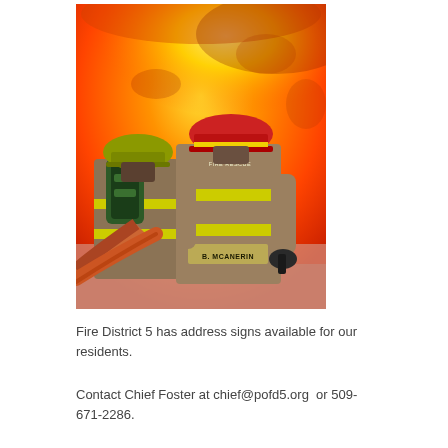[Figure (photo): Two firefighters in brown turnout gear with yellow reflective stripes seen from behind, facing a large fire. The firefighter on the right has 'B. MCANERIN' on their jacket and 'FIRE RESCUE' text visible. Both wear helmets — one yellow-green, one red. A fire hose is visible.]
Fire District 5 has address signs available for our residents.
Contact Chief Foster at chief@pofd5.org  or 509-671-2286.